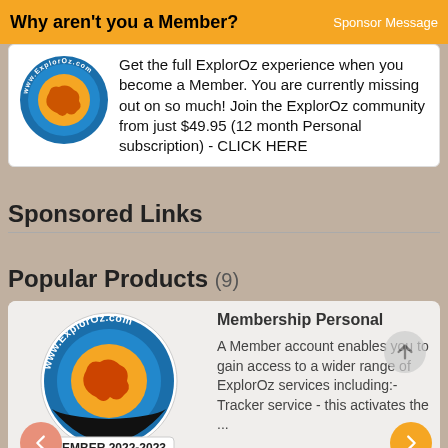Why aren't you a Member?
Sponsor Message
Get the full ExplorOz experience when you become a Member. You are currently missing out on so much! Join the ExplorOz community from just $49.95 (12 month Personal subscription) - CLICK HERE
Sponsored Links
Popular Products (9)
[Figure (logo): ExplorOz logo - circular logo with www.ExplorOz.com text and orange Australia map on blue background, labeled MEMBER 2022-2023]
Membership Personal

A Member account enables you to gain access to a wider range of ExplorOz services including:- Tracker service - this activates the ...